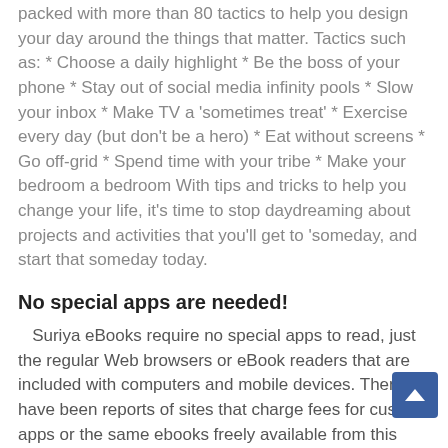packed with more than 80 tactics to help you design your day around the things that matter. Tactics such as: * Choose a daily highlight * Be the boss of your phone * Stay out of social media infinity pools * Slow your inbox * Make TV a 'sometimes treat' * Exercise every day (but don't be a hero) * Eat without screens * Go off-grid * Spend time with your tribe * Make your bedroom a bedroom With tips and tricks to help you change your life, it's time to stop daydreaming about projects and activities that you'll get to 'someday, and start that someday today.
No special apps are needed!
Suriya eBooks require no special apps to read, just the regular Web browsers or eBook readers that are included with computers and mobile devices. There have been reports of sites that charge fees for custom apps or the same ebooks freely available from this site. Some of the apps might have worthwhile features, but none are required to enjoy our eBooks.